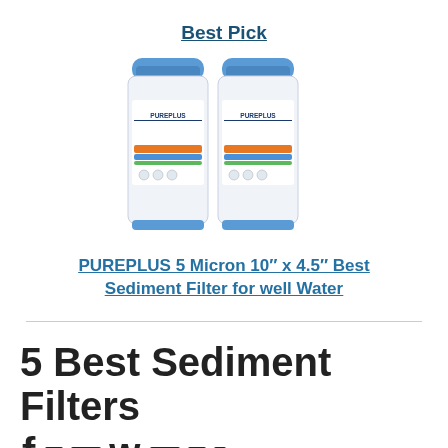Best Pick
[Figure (photo): Two PUREPLUS cylindrical water filter cartridges with blue caps, white bodies, and colorful stripe labels]
PUREPLUS 5 Micron 10″ x 4.5″ Best Sediment Filter for well Water
5 Best Sediment Filters for well water